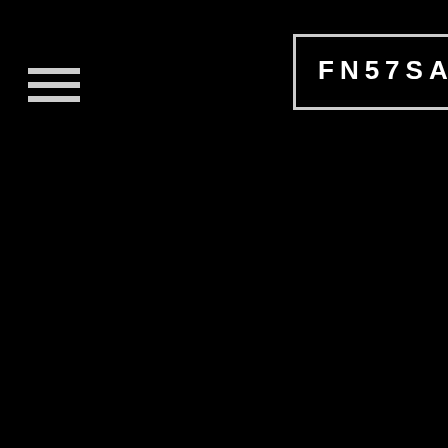[Figure (logo): FN57SALE website logo on black background. Left side shows a hamburger menu icon (three horizontal white lines). Center shows a rectangular bordered logo with text 'FN57SALE' in white block letters on black background, and to the right within the border a white silhouette icon of a handgun pistol.]